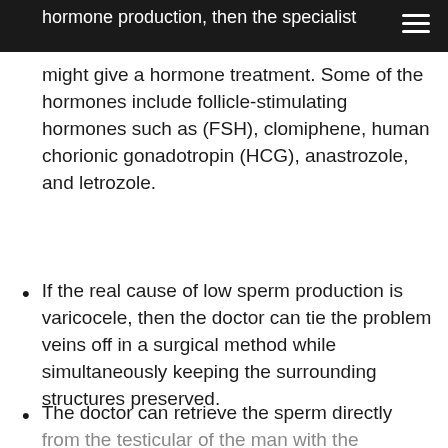hormone production, then the specialist
might give a hormone treatment. Some of the hormones include follicle-stimulating hormones such as (FSH), clomiphene, human chorionic gonadotropin (HCG), anastrozole, and letrozole.
If the real cause of low sperm production is varicocele, then the doctor can tie the problem veins off in a surgical method while simultaneously keeping the surrounding structures preserved.
The doctor can retrieve the sperm directly from the testicular of the man with the